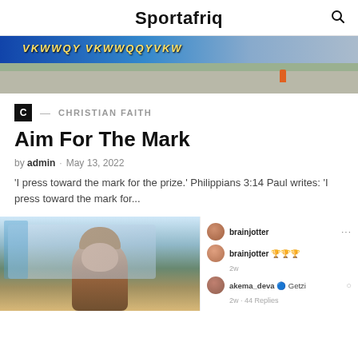Sportafriq
[Figure (photo): Top image showing a street scene with blue signage and a road with an orange traffic cone]
C — CHRISTIAN FAITH
Aim For The Mark
by admin · May 13, 2022
'I press toward the mark for the prize.' Philippians 3:14 Paul writes: 'I press toward the mark for...
[Figure (photo): Bottom split image: left side shows a person wearing a brown cap smiling outdoors near a building; right side shows a social media comment section with usernames brainjotter and akema_deva]
brainjotter
brainjotter 🏆🏆🏆
2w
akema_deva 🔵 Getzi